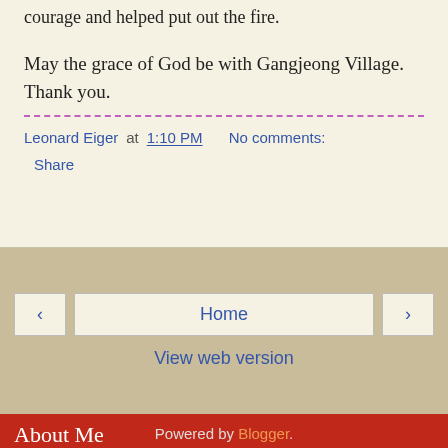courage and helped put out the fire.
May the grace of God be with Gangjeong Village. Thank you.
Leonard Eiger at 1:10 PM   No comments:
Share
< Home >
View web version
About Me
[Figure (photo): Profile photo of a person wearing a black beret and dark jacket]
View my complete profile
Powered by Blogger.